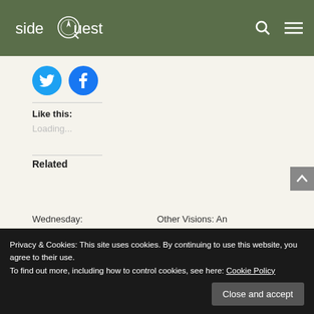sideQuest
[Figure (illustration): Twitter and Facebook social share circular icon buttons in blue]
Like this:
Loading...
Related
Privacy & Cookies: This site uses cookies. By continuing to use this website, you agree to their use.
To find out more, including how to control cookies, see here: Cookie Policy
Close and accept
Wednesday:
Other Visions: An